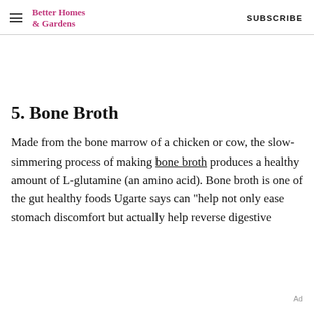Better Homes & Gardens  SUBSCRIBE
5. Bone Broth
Made from the bone marrow of a chicken or cow, the slow-simmering process of making bone broth produces a healthy amount of L-glutamine (an amino acid). Bone broth is one of the gut healthy foods Ugarte says can "help not only ease stomach discomfort but actually help reverse digestive